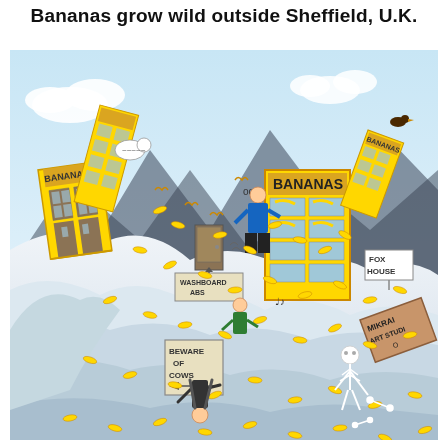Bananas grow wild outside Sheffield, U.K.
[Figure (illustration): A humorous cartoon illustration showing a chaotic hillside scene outside Sheffield, UK. Yellow banana-shaped birds fill the air and cover the snowy/cloudy hillside. Buildings labeled 'BANANAS' are tilting at angles on different hills. Signs read 'WASHBOARD ABS', 'BEWARE OF COWS', 'FOX HOUSE', and 'MIKRAI ART STUDIO'. A person in blue is pushing into a large yellow vending machine labeled 'BANANAS'. A skeleton and person falling are visible among the banana-birds on the hillside. A sheep or goat is visible near the left building. Clouds and a blue sky form the background.]